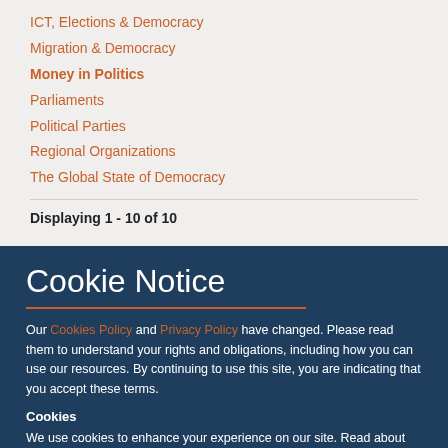ICT, Elections & Democracy
Migration & Democracy
Money in Politics
Parliaments
Political Parties
Regional Organizations
The Global State of Democracy
Displaying 1 - 10 of 10
Cookie Notice
Our Cookies Policy and Privacy Policy have changed. Please read them to understand your rights and obligations, including how you can use our resources. By continuing to use this site, you are indicating that you accept these terms.
Cookies
We use cookies to enhance your experience on our site. Read about how we use cookies and how you can control them here. By continuing to use this site, without changing your settings, you are indicating that you accept this policy.